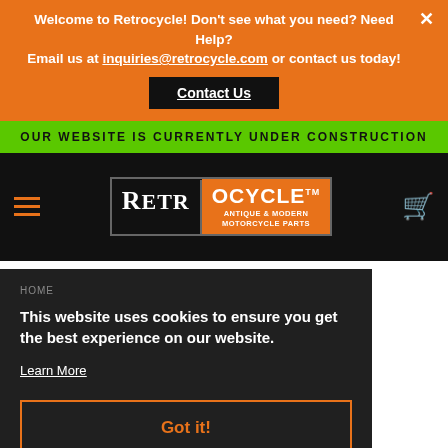Welcome to Retrocycle!  Don't see what you need? Need Help? Email us at inquiries@retrocycle.com or contact us today!
Contact Us
OUR WEBSITE IS CURRENTLY UNDER CONSTRUCTION
[Figure (logo): Retrocycle logo - black and orange with text RETROCYCLE ANTIQUE & MODERN MOTORCYCLE PARTS]
This website uses cookies to ensure you get the best experience on our website.
Learn More
Got it!
[Figure (photo): Motorcycle engine/wheel parts visible at bottom of page]